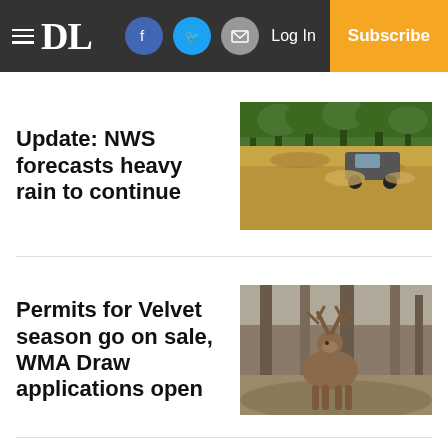DL — Log In — Subscribe
Update: NWS forecasts heavy rain to continue
[Figure (photo): Vehicle driving through floodwaters on a road surrounded by trees]
Permits for Velvet season go on sale, WMA Draw applications open
[Figure (photo): Deer with velvet antlers standing in a wooded forest area]
USM's Riggins signs Free
[Figure (photo): Black/dark image thumbnail]